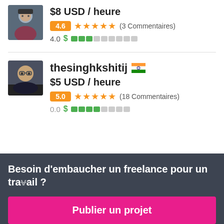[Figure (photo): Avatar photo of first freelancer (partial, top)]
$8 USD / heure
4.6 ★★★★★ (3 Commentaires)
4.0 $ ■■■□□□□□□□
[Figure (photo): Avatar photo of thesinghkshitij]
thesinghkshitij 🇮🇳
$5 USD / heure
5.0 ★★★★★ (18 Commentaires)
Besoin d'embaucher un freelance pour un travail ?
Publier un projet